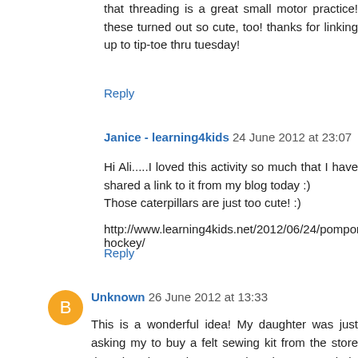that threading is a great small motor practice! these turned out so cute, too! thanks for linking up to tip-toe thru tuesday!
Reply
Janice - learning4kids 24 June 2012 at 23:07
Hi Ali.....I loved this activity so much that I have shared a link to it from my blog today :)
Those caterpillars are just too cute! :)
http://www.learning4kids.net/2012/06/24/pompom-hockey/
Reply
Unknown 26 June 2012 at 13:33
This is a wonderful idea! My daughter was just asking my to buy a felt sewing kit from the store the other day! Duh, I never thought to use a hole punch to make our own!
xoxo